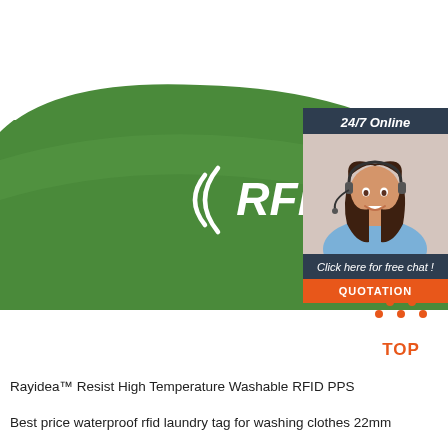[Figure (photo): Green RFID silicone wristband/laundry tag with white ((RFID)) logo text, photographed on white background. Overlaid with a customer support chat widget showing a woman with a headset, dark blue background, '24/7 Online' header, 'Click here for free chat!' text, and an orange QUOTATION button.]
[Figure (logo): TOP logo with orange dots forming an upward triangle/arrow shape above red-orange 'TOP' text]
Rayidea™ Resist High Temperature Washable RFID PPS
Best price waterproof rfid laundry tag for washing clothes 22mm